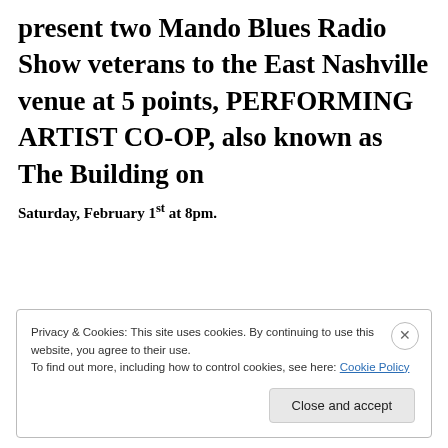present two Mando Blues Radio Show veterans to the East Nashville venue at 5 points, PERFORMING ARTIST CO-OP, also known as The Building on
Saturday, February 1st at 8pm.
Privacy & Cookies: This site uses cookies. By continuing to use this website, you agree to their use.
To find out more, including how to control cookies, see here: Cookie Policy